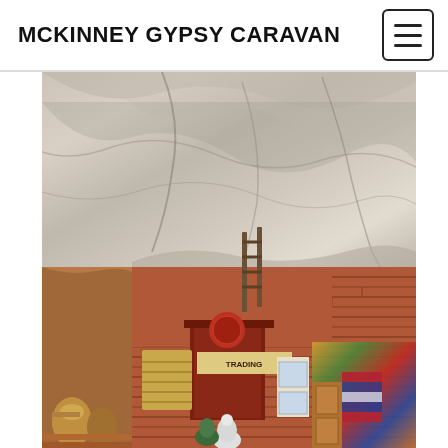MCKINNEY GYPSY CARAVAN
[Figure (photo): Interior of a cliff dwelling or ancient pueblo ruin built beneath a large sandstone overhang. Red/terracotta layered brick walls fill the lower half of the frame beneath dramatic pale grey cave rock ceiling. A doorway with a dark red frame is visible at center. Various artifacts, pottery, textiles, a loom, and colorful goods are arranged in the foreground.]